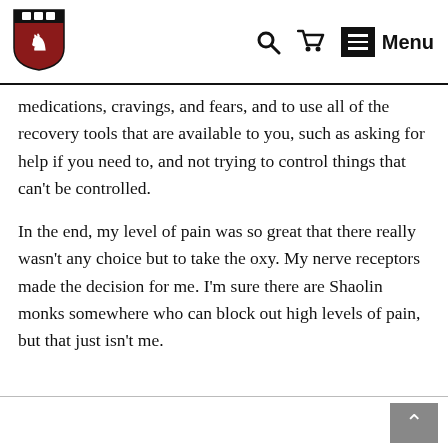[Figure (logo): Harvard shield/crest logo in dark red and black]
medications, cravings, and fears, and to use all of the recovery tools that are available to you, such as asking for help if you need to, and not trying to control things that can't be controlled.
In the end, my level of pain was so great that there really wasn't any choice but to take the oxy. My nerve receptors made the decision for me. I'm sure there are Shaolin monks somewhere who can block out high levels of pain, but that just isn't me.
↑